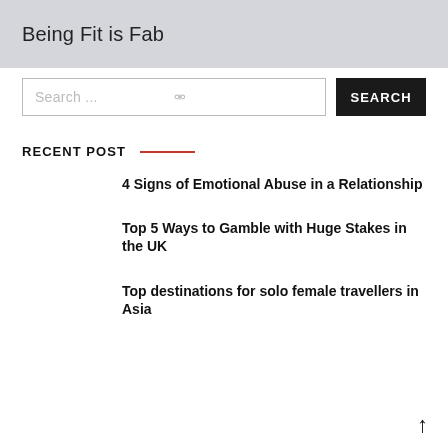Being Fit is Fab
Search ...
SEARCH
RECENT POST
4 Signs of Emotional Abuse in a Relationship
Top 5 Ways to Gamble with Huge Stakes in the UK
Top destinations for solo female travellers in Asia